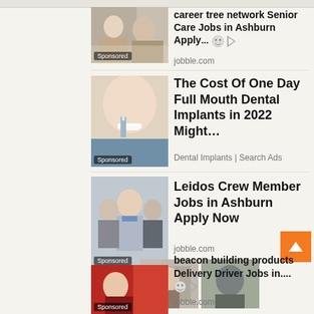[Figure (screenshot): Top navigation/search bar area]
[Figure (photo): Career tree network Senior Care Jobs ad with photo of elderly person and caregiver. Sponsored badge visible.]
career tree network Senior Care Jobs in Ashburn Apply...
jobble.com
[Figure (photo): Dental implants ad showing close-up of woman's teeth being worked on by dental professional. Sponsored badge visible.]
The Cost Of One Day Full Mouth Dental Implants in 2022 Might…
Dental Implants | Search Ads
[Figure (photo): Leidos Crew Member Jobs ad with photo of smiling workers. Sponsored badge visible.]
Leidos Crew Member Jobs in Ashburn Apply Now
jobble.com
[Figure (photo): Two side-by-side images: a woman at a call center and a man doing outdoor work]
[Figure (photo): Beacon building products Delivery Driver Jobs ad with person in truck cab. Sponsored badge visible.]
beacon building products Delivery Driver Jobs in....
jobble.com